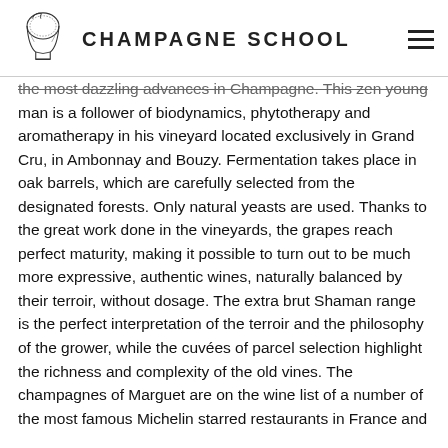CHAMPAGNE SCHOOL
the most dazzling advances in Champagne. This zen young man is a follower of biodynamics, phytotherapy and aromatherapy in his vineyard located exclusively in Grand Cru, in Ambonnay and Bouzy. Fermentation takes place in oak barrels, which are carefully selected from the designated forests. Only natural yeasts are used. Thanks to the great work done in the vineyards, the grapes reach perfect maturity, making it possible to turn out to be much more expressive, authentic wines, naturally balanced by their terroir, without dosage. The extra brut Shaman range is the perfect interpretation of the terroir and the philosophy of the grower, while the cuvées of parcel selection highlight the richness and complexity of the old vines. The champagnes of Marguet are on the wine list of a number of the most famous Michelin starred restaurants in France and